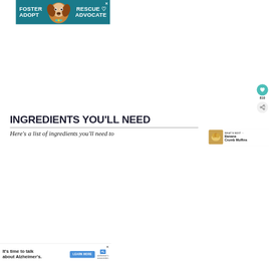[Figure (infographic): Advertisement banner: teal/dark background with a dog (beagle) photo in center. Bold white text: FOSTER, ADOPT on left; RESCUE, ADVOCATE on right. Close X button top right.]
[Figure (infographic): Like/favorite button: teal circle with heart icon, count 810, and share icon below.]
INGREDIENTS YOU'LL NEED
Here's a list of ingredients you'll need to make…
[Figure (infographic): What's Next panel: thumbnail of Banana Crumb Muffins with label WHAT'S NEXT and arrow]
[Figure (infographic): Bottom advertisement: It's time to talk about Alzheimer's. LEARN MORE button. Alzheimer's Association logo.]